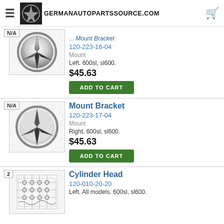GERMANAUTOPARTSSOURCE.COM
Mount Bracket
120-223-16-04
Mount
Left. 600sl, sl600.
$45.63
ADD TO CART
Mount Bracket
120-223-17-04
Mount
Right. 600sl, sl600.
$45.63
ADD TO CART
Cylinder Head
120-010-20-20
Left. All models. 600sl, sl600.